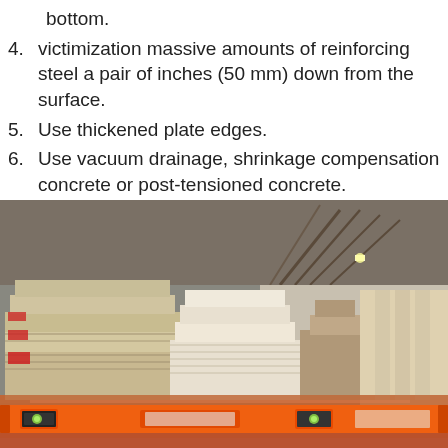bottom.
4. victimization massive amounts of reinforcing steel a pair of inches (50 mm) down from the surface.
5. Use thickened plate edges.
6. Use vacuum drainage, shrinkage compensation concrete or post-tensioned concrete.
[Figure (photo): Warehouse interior with stacked bags and boxes of construction materials on pallets, an orange spirit level in the foreground on a concrete floor, high ceiling with rafters visible.]